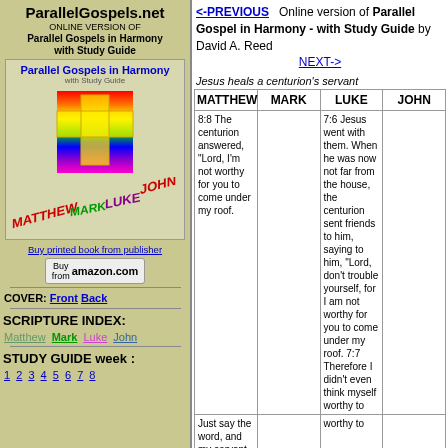ParallelGospels.net
ONLINE VERSION OF Parallel Gospels in Harmony with Study Guide
[Figure (illustration): Book cover image showing Parallel Gospels in Harmony with Study Guide, colorful rainbow cross, and 3D letters for MATTHEW, MARK, LUKE, JOHN]
Buy printed book from publisher
Buy from amazon.com
COVER: Front Back
SCRIPTURE INDEX:
Matthew Mark Luke John
STUDY GUIDE week :
1 2 3 4 5 6 7 8
<-PREVIOUS  Online version of Parallel Gospels in Harmony - with Study Guide by David A. Reed  NEXT->
Jesus heals a centurion's servant
| MATTHEW | MARK | LUKE | JOHN |
| --- | --- | --- | --- |
| 8:8 The centurion answered, "Lord, I'm not worthy for you to come under my roof. |  | 7:6 Jesus went with them. When he was now not far from the house, the centurion sent friends to him, saying to him, "Lord, don't trouble yourself, for I am not worthy for you to come under my roof. 7:7 Therefore I didn't even think myself worthy to |  |
| Just say the word, and my servant will be healed. 8:9 For I am also a man under authority, having under myself soldiers. I tell this one, 'Go,' and he goes; and tell |  | worthy to |  |